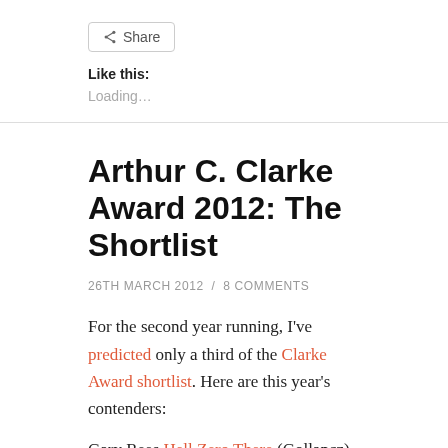[Figure (other): Share button with share icon]
Like this:
Loading...
Arthur C. Clarke Award 2012: The Shortlist
26TH MARCH 2012 / 8 COMMENTS
For the second year running, I've predicted only a third of the Clarke Award shortlist. Here are this year's contenders:
Gary Rees Hell Zero There (Gollancz)